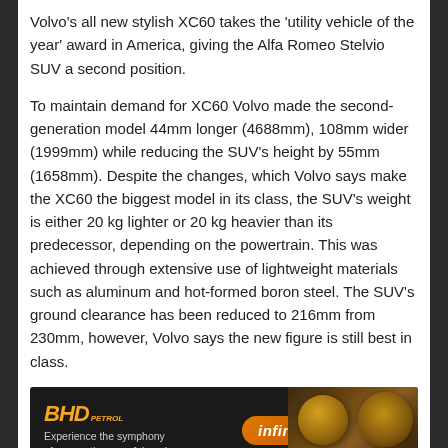Volvo’s all new stylish XC60 takes the ‘utility vehicle of the year’ award in America, giving the Alfa Romeo Stelvio SUV a second position.
To maintain demand for XC60 Volvo made the second-generation model 44mm longer (4688mm), 108mm wider (1999mm) while reducing the SUV’s height by 55mm (1658mm). Despite the changes, which Volvo says make the XC60 the biggest model in its class, the SUV’s weight is either 20 kg lighter or 20 kg heavier than its predecessor, depending on the powertrain. This was achieved through extensive use of lightweight materials such as aluminum and hot-formed boron steel. The SUV’s ground clearance has been reduced to 216mm from 230mm, however, Volvo says the new figure is still best in class.
[Figure (other): Advertisement banner for BHP Petrol and Infiniti. Text reads 'Experience the symphony of a smooth, powerful engine' with BHP Petrol logo on the left, Infiniti badge in the middle, and decorative food/flower imagery on the right.]
Volvo also packed the second-generation XC60 with new